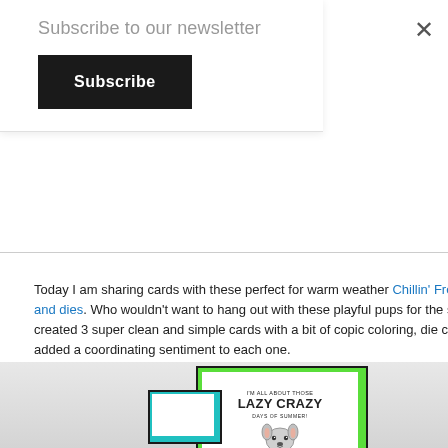Subscribe to our newsletter
Subscribe
×
Today I am sharing cards with these perfect for warm weather Chillin' Frenc… and dies. Who wouldn't want to hang out with these playful pups for the su… created 3 super clean and simple cards with a bit of copic coloring, die cut t… added a coordinating sentiment to each one.
[Figure (photo): Photo of handmade greeting cards with French bulldog illustration and text 'I'M ALL ABOUT THOSE LAZY CRAZY DAYS OF SUMMER!' on a light gray background.]